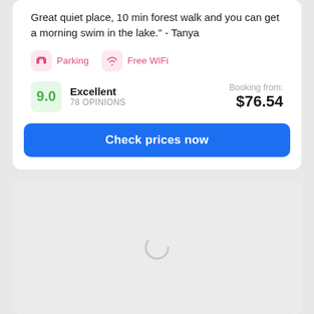Great quiet place, 10 min forest walk and you can get a morning swim in the lake." - Tanya
Parking
Free WiFi
9.0 Excellent 78 OPINIONS | Booking from: $76.54
Check prices now
[Figure (other): Loading spinner / map placeholder area with grey background and circular loading indicator]